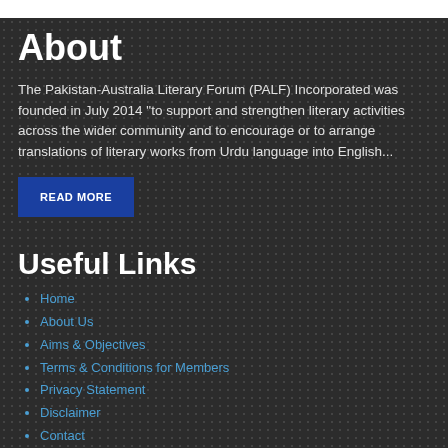About
The Pakistan-Australia Literary Forum (PALF) Incorporated was founded in July 2014 "to support and strengthen literary activities across the wider community and to encourage or to arrange translations of literary works from Urdu language into English...
READ MORE
Useful Links
Home
About Us
Aims & Objectives
Terms & Conditions for Members
Privacy Statement
Disclaimer
Contact